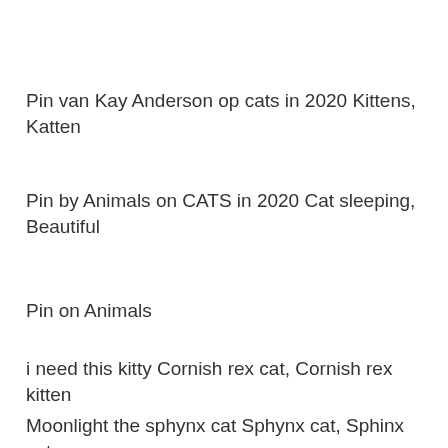Pin van Kay Anderson op cats in 2020 Kittens, Katten
Pin by Animals on CATS in 2020 Cat sleeping, Beautiful
Pin on Animals
i need this kitty Cornish rex cat, Cornish rex kitten
Moonlight the sphynx cat Sphynx cat, Sphinx cat